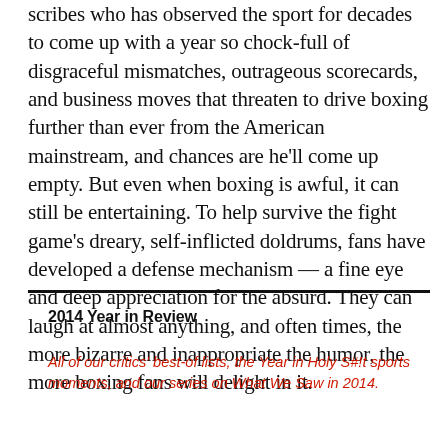scribes who has observed the sport for decades to come up with a year so chock-full of disgraceful mismatches, outrageous scorecards, and business moves that threaten to drive boxing further than ever from the American mainstream, and chances are he'll come up empty. But even when boxing is awful, it can still be entertaining. To help survive the fight game's dreary, self-inflicted doldrums, fans have developed a defense mechanism — a fine eye and deep appreciation for the absurd. They can laugh at almost anything, and often times, the more bizarre and inappropriate the humor, the more boxing fans will delight in it.
2014 Year in Review
All of our critics' best-of lists, the Year in Holy S#!t sports moments, and our series on What We Saw in 2014.